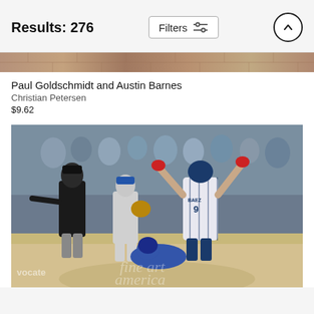Results: 276
Filters
[Figure (photo): Cropped top edge of a baseball photo showing a dirt/red-brick pattern strip]
Paul Goldschmidt and Austin Barnes
Christian Petersen
$9.62
[Figure (photo): Baseball game photo showing Javier Baez (#9, Chicago Cubs) celebrating with arms raised after scoring, an umpire signaling safe, a catcher sliding/falling, and another player, with crowd in background. Fine Art America watermark visible.]